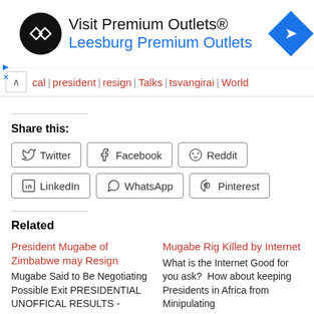[Figure (screenshot): Advertisement banner for Premium Outlets with circular logo, text 'Visit Premium Outlets® Leesburg Premium Outlets', and blue diamond navigation icon]
cal | president | resign | Talks | tsvangirai | World
Share this:
Twitter | Facebook | Reddit | LinkedIn | WhatsApp | Pinterest
Related
President Mugabe of Zimbabwe may Resign — Mugabe Said to Be Negotiating Possible Exit PRESIDENTIAL UNOFFICAL RESULTS -
Mugabe Rig Killed by Internet — What is the Internet Good for you ask?  How about keeping Presidents in Africa from Minipulating